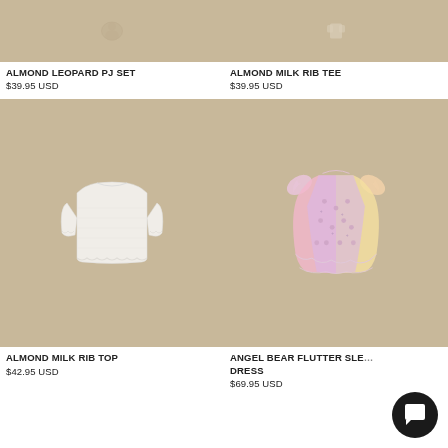[Figure (photo): Partial product image of Almond Leopard PJ Set on tan/beige background (top portion cut off)]
ALMOND LEOPARD PJ SET
$39.95 USD
[Figure (photo): Partial product image of Almond Milk Rib Tee on tan/beige background (top portion cut off)]
ALMOND MILK RIB TEE
$39.95 USD
[Figure (photo): White ribbed long-sleeve top with lettuce hem edges, displayed flat on tan/beige background]
ALMOND MILK RIB TOP
$42.95 USD
[Figure (photo): Angel Bear Flutter Sleeve Dress in pastel rainbow (pink, lavender, yellow) with floral/bear print, flutter sleeves, displayed on tan/beige background]
ANGEL BEAR FLUTTER SLEEVE DRESS
$69.95 USD